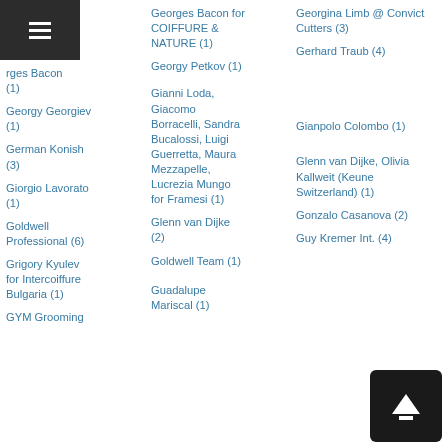Navigation menu
Georges Bacon (1)
Georges Bacon for COIFFURE & NATURE (1)
Georgina Limb @ Convict Cutters (3)
Georgy Georgiev (1)
Georgy Petkov (1)
Gerhard Traub (4)
German Konish (3)
Gianni Loda, Giacomo Borracelli, Sandra Bucalossi, Luigi Guerretta, Maura Mezzapelle, Lucrezia Mungo for Framesi (1)
Gianpolo Colombo (1)
Giorgio Lavorato (1)
Glenn van Dijke (2)
Glenn van Dijke, Olivia Kallweit (Keune Switzerland) (1)
Goldwell Professional (6)
Goldwell Team (1)
Gonzalo Casanova (2)
Grigory Kyulev for Intercoiffure Bulgaria (1)
Guadalupe Mariscal (1)
Guy Kremer Int. (4)
GYM Grooming